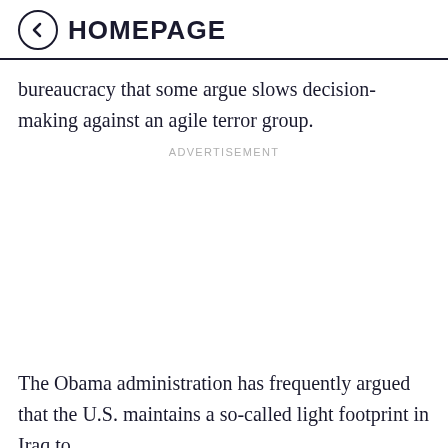HOMEPAGE
bureaucracy that some argue slows decision-making against an agile terror group.
ADVERTISEMENT
The Obama administration has frequently argued that the U.S. maintains a so-called light footprint in Iraq to